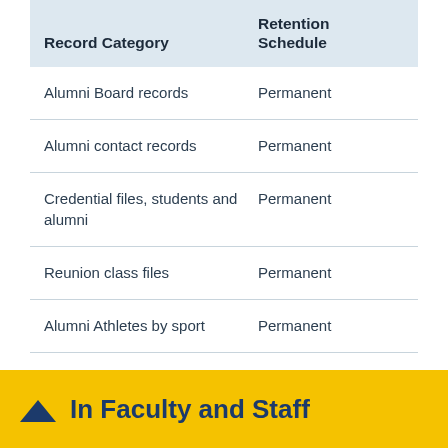| Record Category | Retention Schedule |
| --- | --- |
| Alumni Board records | Permanent |
| Alumni contact records | Permanent |
| Credential files, students and alumni | Permanent |
| Reunion class files | Permanent |
| Alumni Athletes by sport | Permanent |
Last updated 12/07/16
In Faculty and Staff